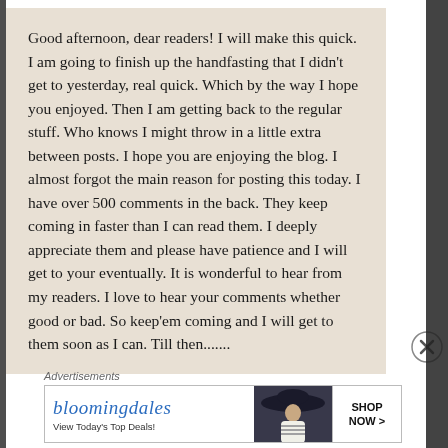Good afternoon, dear readers! I will make this quick. I am going to finish up the handfasting that I didn't get to yesterday, real quick. Which by the way I hope you enjoyed. Then I am getting back to the regular stuff. Who knows I might throw in a little extra between posts. I hope you are enjoying the blog. I almost forgot the main reason for posting this today. I have over 500 comments in the back. They keep coming in faster than I can read them. I deeply appreciate them and please have patience and I will get to your eventually. It is wonderful to hear from my readers. I love to hear your comments whether good or bad. So keep'em coming and I will get to them soon as I can. Till then.......
Advertisements
[Figure (other): Bloomingdale's advertisement banner showing logo, 'View Today's Top Deals!' tagline, a woman in a large hat, and a 'SHOP NOW >' call to action button.]